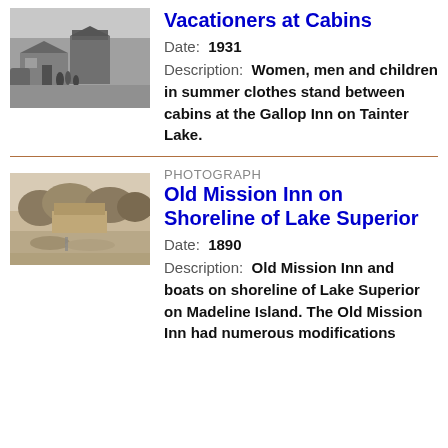[Figure (photo): Black and white photograph of vacationers at cabins, Gallop Inn on Tainter Lake, 1931]
Vacationers at Cabins
Date: 1931
Description: Women, men and children in summer clothes stand between cabins at the Gallop Inn on Tainter Lake.
[Figure (photo): Sepia photograph of Old Mission Inn on shoreline of Lake Superior, Madeline Island, 1890]
PHOTOGRAPH
Old Mission Inn on Shoreline of Lake Superior
Date: 1890
Description: Old Mission Inn and boats on shoreline of Lake Superior on Madeline Island. The Old Mission Inn had numerous modifications